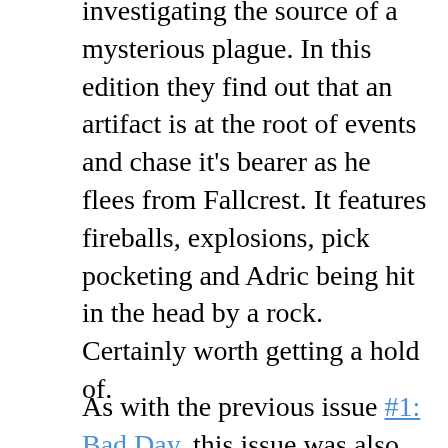investigating the source of a mysterious plague. In this edition they find out that an artifact is at the root of events and chase it's bearer as he flees from Fallcrest. It features fireballs, explosions, pick pocketing and Adric being hit in the head by a rock. Certainly worth getting a hold of.
As with the previous issue #1: Bad Day, this issue was also produced in a limited module edition that contains an adventure module written by Christopher Perkins. I created the